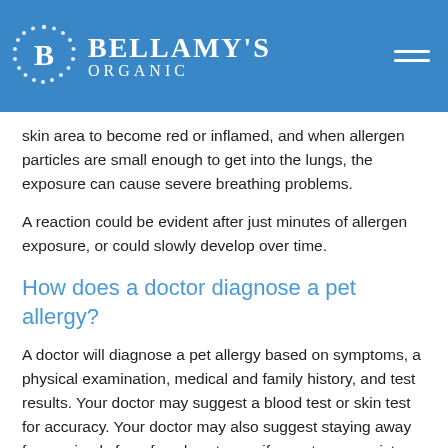Bellamy's Organic
skin area to become red or inflamed, and when allergen particles are small enough to get into the lungs, the exposure can cause severe breathing problems.
A reaction could be evident after just minutes of allergen exposure, or could slowly develop over time.
How does a doctor diagnose a pet allergy?
A doctor will diagnose a pet allergy based on symptoms, a physical examination, medical and family history, and test results. Your doctor may suggest a blood test or skin test for accuracy. Your doctor may also suggest staying away from animals for a few days to see if symptoms persist.